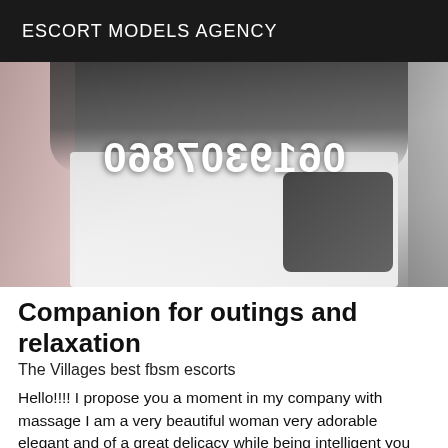ESCORT MODELS AGENCY
[Figure (photo): Photo of a person with a mirrored phone number overlay reading 0619307860]
Companion for outings and relaxation
The Villages best fbsm escorts
Hello!!!! I propose you a moment in my company with massage I am a very beautiful woman very adorable elegant and of a great delicacy while being intelligent you will not fail to find me also well educated with a great